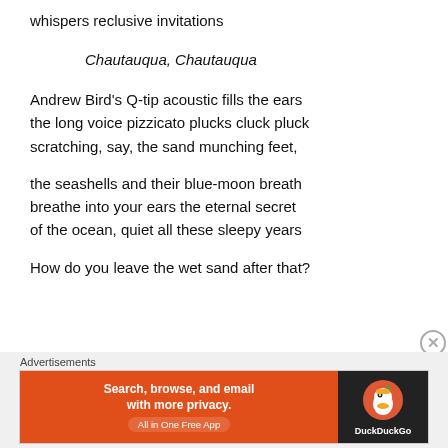whispers reclusive invitations
Chautauqua, Chautauqua
Andrew Bird's Q-tip acoustic fills the ears
the long voice pizzicato plucks cluck pluck
scratching, say, the sand munching feet,
the seashells and their blue-moon breath
breathe into your ears the eternal secret
of the ocean, quiet all these sleepy years
How do you leave the wet sand after that?
Advertisements — Search, browse, and email with more privacy. All in One Free App — DuckDuckGo